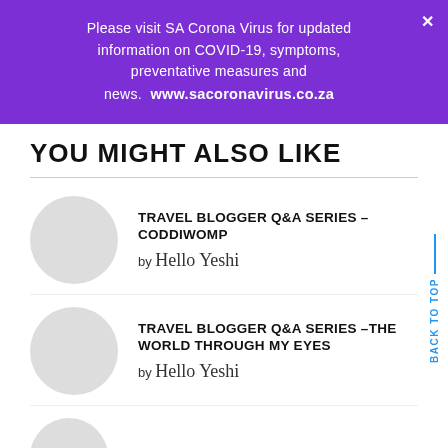Please visit SA Corona Virus for updated information on COVID-19, symptoms, preventative measures and news. www.sacoronavirus.co.za
YOU MIGHT ALSO LIKE
TRAVEL BLOGGER Q&A SERIES – CODDIWOMP by Hello Yeshi
TRAVEL BLOGGER Q&A SERIES –THE WORLD THROUGH MY EYES by Hello Yeshi
TRAVEL BLOGGER Q&A SERIES –